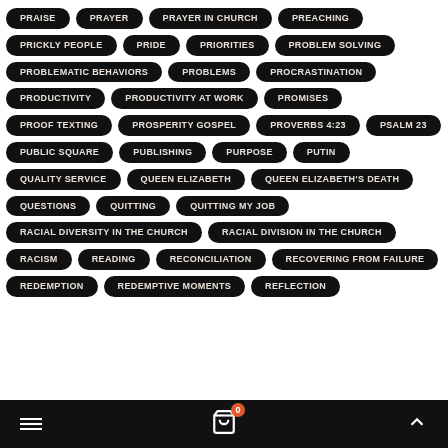PRAISE
PRAYER
PRAYER IN CHURCH
PREACHING
PRICKLY PEOPLE
PRIDE
PRIORITIES
PROBLEM SOLVING
PROBLEMATIC BEHAVIORS
PROBLEMS
PROCRASTINATION
PRODUCTIVITY
PRODUCTIVITY AT WORK
PROMISES
PROOF TEXTING
PROSPERITY GOSPEL
PROVERBS 4:23
PSALM 23
PUBLIC SQUARE
PUBLISHING
PURPOSE
PUTIN
QUALITY SERVICE
QUEEN ELIZABETH
QUEEN ELIZABETH'S DEATH
QUESTIONS
QUITTING
QUITTING MY JOB
RACIAL DIVERSITY IN THE CHURCH
RACIAL DIVISION IN THE CHURCH
RACISM
READING
RECONCILIATION
RECOVERING FROM FAILURE
REDEMPTION
REDEMPTIVE MOMENTS
REFLECTION
≡  🛒 0  ▲